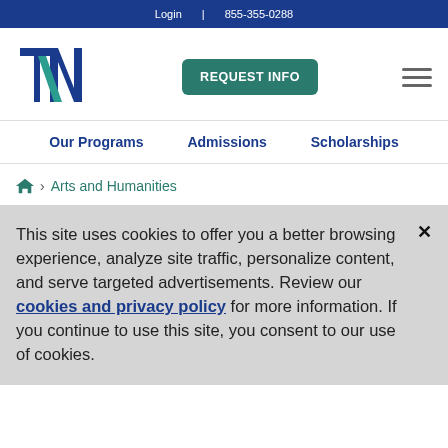Login | 855-355-0288
[Figure (logo): National University logo — stylized T and N letterforms in dark navy blue and teal]
REQUEST INFO
Our Programs   Admissions   Scholarships
🏠 > Arts and Humanities
This site uses cookies to offer you a better browsing experience, analyze site traffic, personalize content, and serve targeted advertisements. Review our cookies and privacy policy for more information. If you continue to use this site, you consent to our use of cookies.